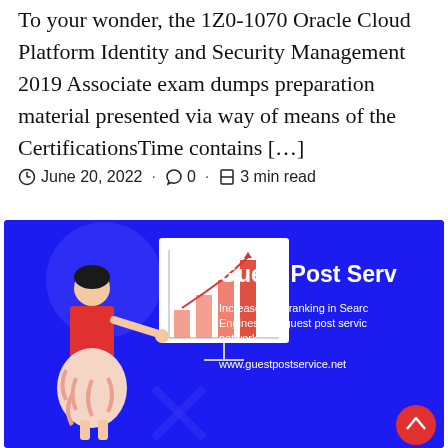To your wonder, the 1Z0-1070 Oracle Cloud Platform Identity and Security Management 2019 Associate exam dumps preparation material presented via way of means of the CertificationsTime contains […]
June 20, 2022 · 0 · 3 min read
[Figure (illustration): Blue banner advertisement for Guest Post Service showing a woman presenting a bar chart, text reading 'Guest Post Serv...' 'Increase your ranking in Search Engines with guest post service network.' and URL www.guestpostservice.net]